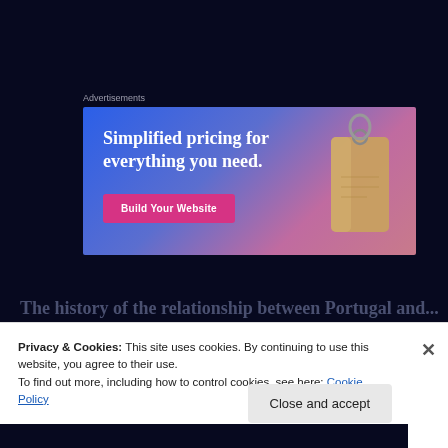Advertisements
[Figure (illustration): Advertisement banner with blue-to-pink gradient background showing 'Simplified pricing for everything you need.' headline, a pink 'Build Your Website' button, and a price tag/key tag illustration on the right.]
The history of the relationship between Portugal and...
Privacy & Cookies: This site uses cookies. By continuing to use this website, you agree to their use.
To find out more, including how to control cookies, see here: Cookie Policy
Close and accept